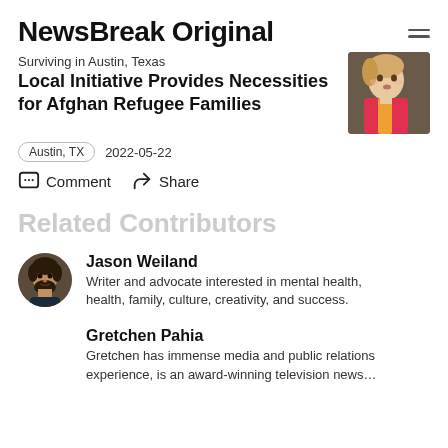NewsBreak Original
Surviving in Austin, Texas
Local Initiative Provides Necessities for Afghan Refugee Families
[Figure (photo): Photo of a young child with blonde hair, wearing colorful clothing, looking to the side]
Austin, TX   2022-05-22
Comment   Share
Related Contributors
[Figure (photo): Circular avatar photo of Jason Weiland, a man with dark hair and beard]
Jason Weiland
Writer and advocate interested in mental health, health, family, culture, creativity, and success.
Gretchen Pahia
Gretchen has immense media and public relations experience, is an award-winning television news…